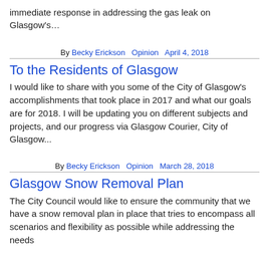immediate response in addressing the gas leak on Glasgow's…
By Becky Erickson   Opinion   April 4, 2018
To the Residents of Glasgow
I would like to share with you some of the City of Glasgow's accomplishments that took place in 2017 and what our goals are for 2018. I will be updating you on different subjects and projects, and our progress via Glasgow Courier, City of Glasgow...
By Becky Erickson   Opinion   March 28, 2018
Glasgow Snow Removal Plan
The City Council would like to ensure the community that we have a snow removal plan in place that tries to encompass all scenarios and flexibility as possible while addressing the needs